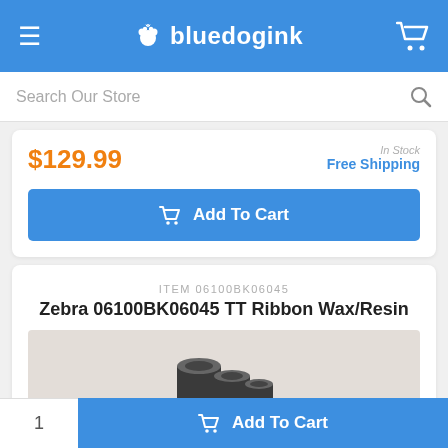bluedogink
Search Our Store
$129.99
Free Shipping
Add To Cart
ITEM 06100BK06045
Zebra 06100BK06045 TT Ribbon Wax/Resin
[Figure (photo): Product photo of Zebra TT Ribbon Wax/Resin rolls on a beige/tan background]
1  Add To Cart